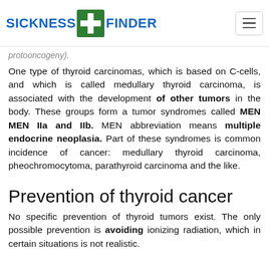SICKNESS FINDER
protooncogeny).
One type of thyroid carcinomas, which is based on C-cells, and which is called medullary thyroid carcinoma, is associated with the development of other tumors in the body. These groups form a tumor syndromes called MEN MEN IIa and IIb. MEN abbreviation means multiple endocrine neoplasia. Part of these syndromes is common incidence of cancer: medullary thyroid carcinoma, pheochromocytoma, parathyroid carcinoma and the like.
Prevention of thyroid cancer
No specific prevention of thyroid tumors exist. The only possible prevention is avoiding ionizing radiation, which in certain situations is not realistic.